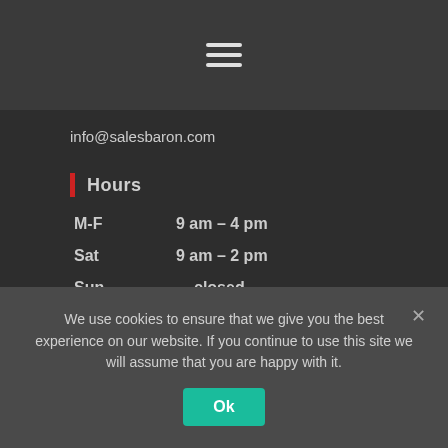[Figure (other): Hamburger menu icon (three horizontal lines) on a dark gray navigation bar]
info@salesbaron.com
Hours
M-F   9 am – 4 pm
Sat   9 am – 2 pm
Sun   closed
Policies
We use cookies to ensure that we give you the best experience on our website. If you continue to use this site we will assume that you are happy with it.